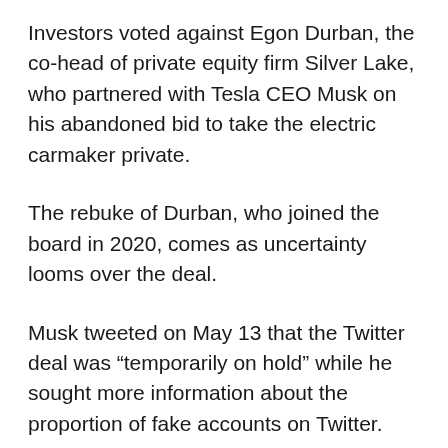Investors voted against Egon Durban, the co-head of private equity firm Silver Lake, who partnered with Tesla CEO Musk on his abandoned bid to take the electric carmaker private.
The rebuke of Durban, who joined the board in 2020, comes as uncertainty looms over the deal.
Musk tweeted on May 13 that the Twitter deal was “temporarily on hold” while he sought more information about the proportion of fake accounts on Twitter.
The company last week said it remained